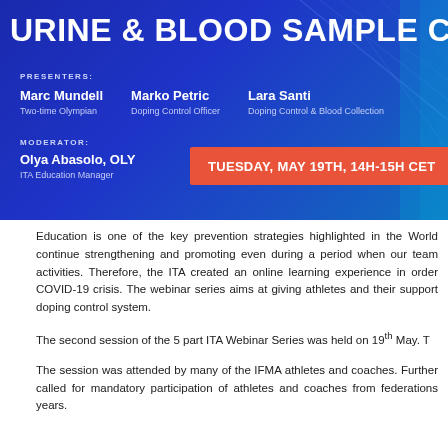[Figure (infographic): Dark blue banner for a webinar titled 'URINE & BLOOD SAMPLE CO...' with presenters Marc Mundell (Two-time Olympian), Marko Petric (Doping Control Officer), Lara Santi (Doping Control & Blood Collection...), moderator Olya Abasolo OLY (ITA Education Manager), and a red-orange date badge reading TUESDAY, MAY 19TH, 14H-15H CET]
Education is one of the key prevention strategies highlighted in the Wor... continue strengthening and promoting even during a period when our team ... activities. Therefore, the ITA created an online learning experience in orde... COVID-19 crisis. The webinar series aims at giving athletes and their suppo... doping control system.
The second session of the 5 part ITA Webinar Series was held on 19th May. T...
The session was attended by many of the IFMA athletes and coaches. Fu... called for mandatory participation of athletes and coaches from federations ... years.